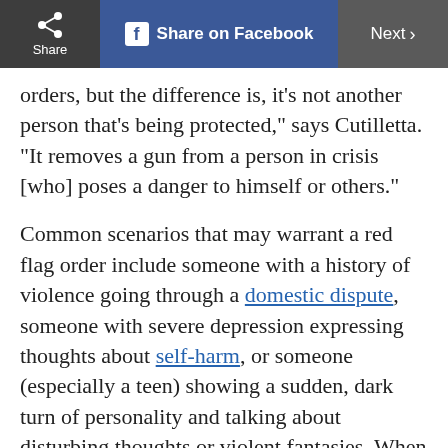Share | Share on Facebook | Next
orders, but the difference is, it’s not another person that’s being protected,” says Cutilletta. “It removes a gun from a person in crisis [who] poses a danger to himself or others.”
Common scenarios that may warrant a red flag order include someone with a history of violence going through a domestic dispute, someone with severe depression expressing thoughts about self-harm, or someone (especially a teen) showing a sudden, dark turn of personality and talking about disturbing thoughts or violent fantasies. When